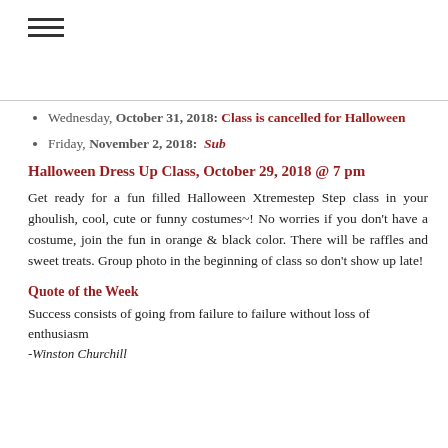Wednesday, October 31, 2018: Class is cancelled for Halloween
Friday, November 2, 2018: Sub
Halloween Dress Up Class, October 29, 2018 @ 7 pm
Get ready for a fun filled Halloween Xtremestep Step class in your ghoulish, cool, cute or funny costumes~! No worries if you don't have a costume, join the fun in orange & black color. There will be raffles and sweet treats. Group photo in the beginning of class so don't show up late!
Quote of the Week
Success consists of going from failure to failure without loss of enthusiasm
-Winston Churchill